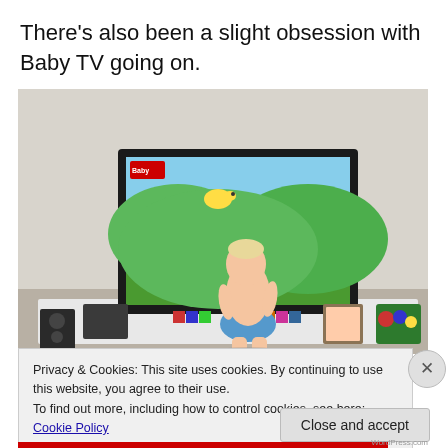There’s also been a slight obsession with Baby TV going on.
[Figure (photo): A toddler in a diaper standing in front of a large flat-screen TV displaying a Baby TV children's program with colorful cartoon animals. The TV is on a white media console with speakers, toy blocks, and other items around it in a living room setting.]
Privacy & Cookies: This site uses cookies. By continuing to use this website, you agree to their use.
To find out more, including how to control cookies, see here: Cookie Policy